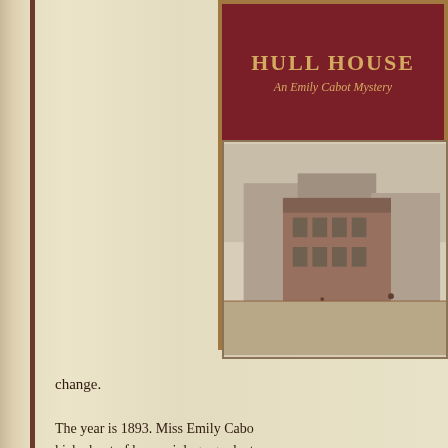[Figure (illustration): Book cover for 'Hull House: An Emily Cabot Mystery' showing title text in gold on dark red background with an illustration of a historic street scene below]
change.
The year is 1893. Miss Emily Cabo... kicked out of her sociology graduat... Chicago -- not for academic reasons... The Dean of Women gives Emily a... a position for her at Hull House, the... in the heart of the city's West Side. ... fellowship, Emily is grateful for the... about Hull House's practical, hands... immigrant community's problems.
As Emily quickly gets absorbed int... settlement, her eyes are opened to a... Kelley, Chief Inspector of Factories...